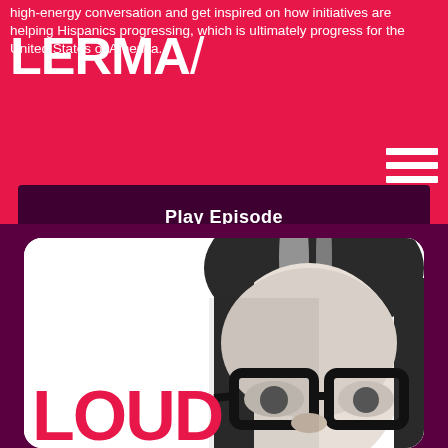high-energy conversation and get inspired on how initiatives are helping Hispanics progressing, which is ultimately progress for the United States of America.
[Figure (logo): LERMA/ logo in white bold text on pink/red background]
[Figure (other): Hamburger menu icon with three white horizontal lines]
Play Episode
[Figure (photo): Black and white photo of a woman with glasses and dark hair, cropped to show upper half of face]
LOUD